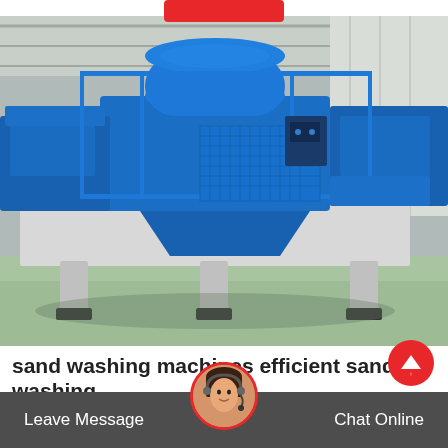[Figure (photo): Large blue industrial sand washing machine / VSI crusher on white metal frame with railings, photographed inside a factory warehouse with green floor]
sand washing machines efficient sand washing
this new sand washing equipment is made up of three parts: redu...
Leave Message   Chat Online